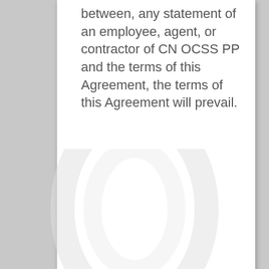between, any statement of an employee, agent, or contractor of CN OCSS PP and the terms of this Agreement, the terms of this Agreement will prevail.